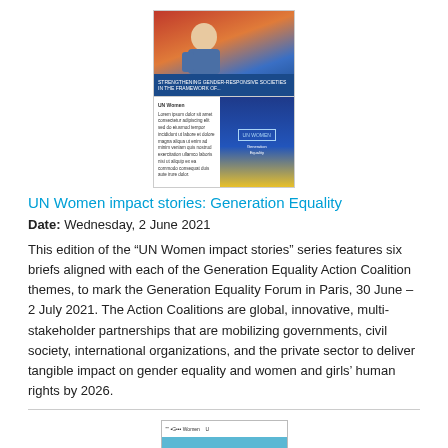[Figure (photo): Two stacked document/publication thumbnail images showing UN Women materials. Top image shows a person speaking with a blue and orange background and a banner overlay. Bottom image shows a two-column document layout with white text on the left and a blue/yellow graphic on the right.]
UN Women impact stories: Generation Equality
Date: Wednesday, 2 June 2021
This edition of the “UN Women impact stories” series features six briefs aligned with each of the Generation Equality Action Coalition themes, to mark the Generation Equality Forum in Paris, 30 June – 2 July 2021. The Action Coalitions are global, innovative, multi-stakeholder partnerships that are mobilizing governments, civil society, international organizations, and the private sector to deliver tangible impact on gender equality and women and girls’ human rights by 2026.
[Figure (illustration): Thumbnail image of a publication cover with a teal/blue background featuring a white illustrated tree with branches and leaves, with small human figures below. A white header bar at the top contains small text and UN Women logo.]